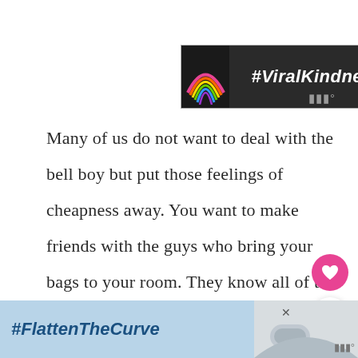[Figure (other): Advertisement banner with rainbow chalk art and text #ViralKindness on dark background]
Many of us do not want to deal with the bell boy but put those feelings of cheapness away. You want to make friends with the guys who bring your bags to your room. They know all of the ins and outs as well as the best secrets at the hotel. The bell boy should
[Figure (other): Bottom advertisement banner with text #FlattenTheCurve on light blue background with handwashing image]